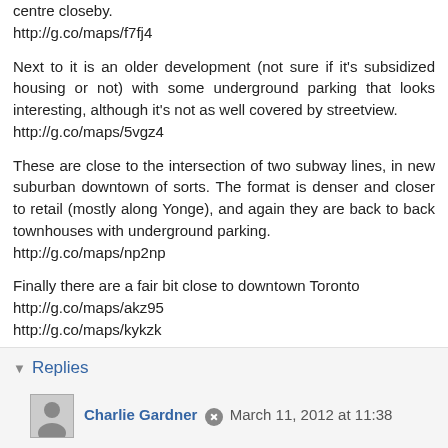centre closeby.
http://g.co/maps/f7fj4
Next to it is an older development (not sure if it's subsidized housing or not) with some underground parking that looks interesting, although it's not as well covered by streetview.
http://g.co/maps/5vgz4
These are close to the intersection of two subway lines, in new suburban downtown of sorts. The format is denser and closer to retail (mostly along Yonge), and again they are back to back townhouses with underground parking.
http://g.co/maps/np2np
Finally there are a fair bit close to downtown Toronto
http://g.co/maps/akz95
http://g.co/maps/kykzk
Reply
Replies
Charlie Gardner • March 11, 2012 at 11:38